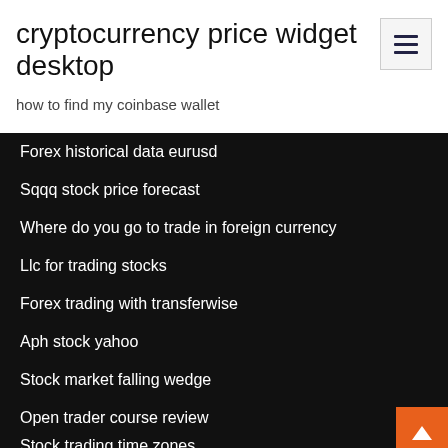cryptocurrency price widget desktop
how to find my coinbase wallet
Forex historical data eurusd
Sqqq stock price forecast
Where do you go to trade in foreign currency
Llc for trading stocks
Forex trading with transferwise
Aph stock yahoo
Stock market falling wedge
Open trader course review
Stock trading time zones